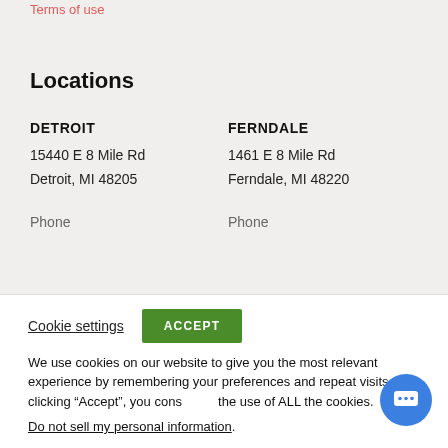Terms of use
Locations
DETROIT
15440 E 8 Mile Rd
Detroit, MI 48205
Phone
FERNDALE
1461 E 8 Mile Rd
Ferndale, MI 48220
Phone
Cookie settings   ACCEPT
We use cookies on our website to give you the most relevant experience by remembering your preferences and repeat visits. By clicking “Accept”, you consent to the use of ALL the cookies.
Do not sell my personal information.